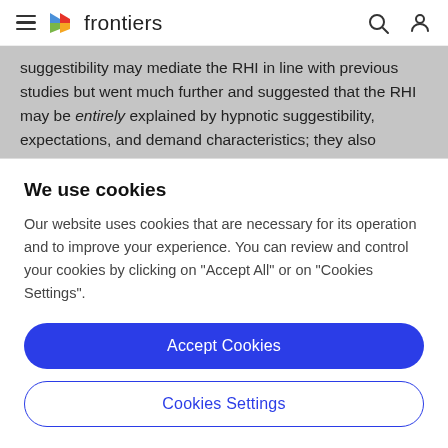frontiers
suggestibility may mediate the RHI in line with previous studies but went much further and suggested that the RHI may be entirely explained by hypnotic suggestibility, expectations, and demand characteristics; they also suggested that multisensory mechanisms may only play a
We use cookies
Our website uses cookies that are necessary for its operation and to improve your experience. You can review and control your cookies by clicking on "Accept All" or on "Cookies Settings".
Accept Cookies
Cookies Settings